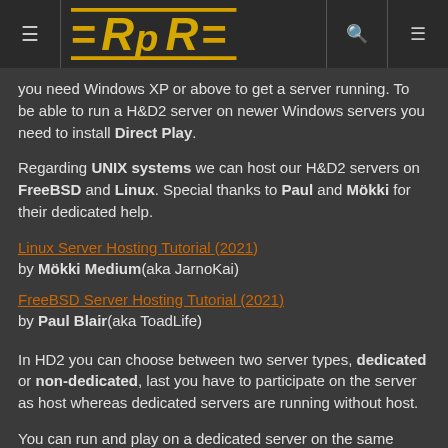=RpR= logo header
you need Windows XP or above to get a server running. To be able to run a H&D2 server on newer Windows servers you need to install Direct Play.
Regarding UNIX systems we can host our H&D2 servers on FreeBSD and Linux. Special thanks to Paul and Mökki for their dedicated help.
Linux Server Hosting Tutorial (2021)
by Mökki Medium(aka JarnoKai)
FreeBSD Server Hosting Tutorial (2021)
by Paul Blair(aka ToadLife)
In HD2 you can choose between two server types, dedicated or non-dedicated, last you have to participate on the server as host whereas dedicated servers are running without host.
You can run and play on a dedicated server on the same machine. This gives you the advantage that if your game crashes, the server